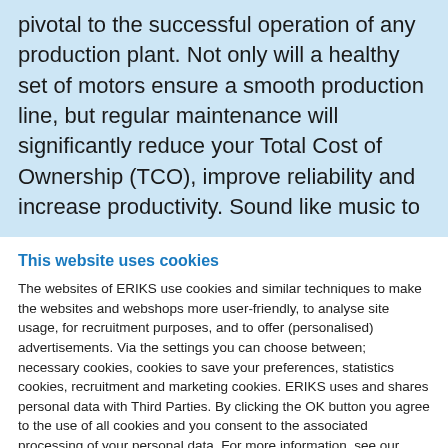pivotal to the successful operation of any production plant. Not only will a healthy set of motors ensure a smooth production line, but regular maintenance will significantly reduce your Total Cost of Ownership (TCO), improve reliability and increase productivity. Sound like music to
This website uses cookies
The websites of ERIKS use cookies and similar techniques to make the websites and webshops more user-friendly, to analyse site usage, for recruitment purposes, and to offer (personalised) advertisements. Via the settings you can choose between; necessary cookies, cookies to save your preferences, statistics cookies, recruitment and marketing cookies. ERIKS uses and shares personal data with Third Parties. By clicking the OK button you agree to the use of all cookies and you consent to the associated processing of your personal data. For more information, see our Cookie Statement & Privacy Statement.
Settings
OK